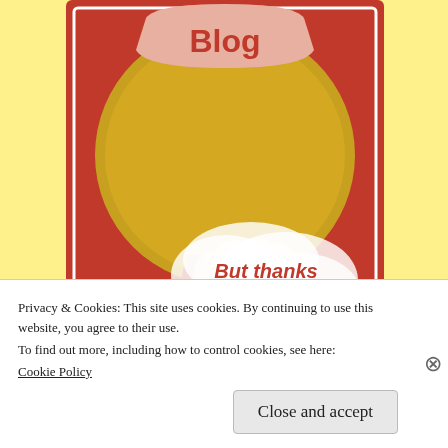[Figure (illustration): Award ribbon illustration with red background, gold circular medal at top with pink banner saying 'Blog', red ribbons hanging below, speech bubble saying 'But thanks anyway!' in red italic text, and a smiley face icon at bottom right.]
Privacy & Cookies: This site uses cookies. By continuing to use this website, you agree to their use.
To find out more, including how to control cookies, see here:
Cookie Policy
Close and accept